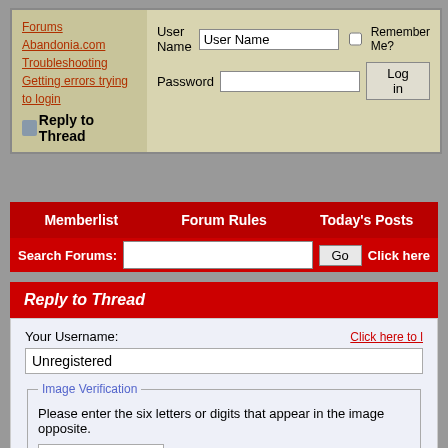[Figure (screenshot): Forum navigation breadcrumb with links: Forums > Abandonia.com > Troubleshooting > Getting errors trying to login, Reply to Thread icon link]
User Name | Password | Remember Me? | Log in
Memberlist | Forum Rules | Today's Posts
Search Forums: [input] Go Click here
Reply to Thread
Your Username: Click here to l...
Unregistered
Image Verification — Please enter the six letters or digits that appear in the image opposite.
Title:
Message: